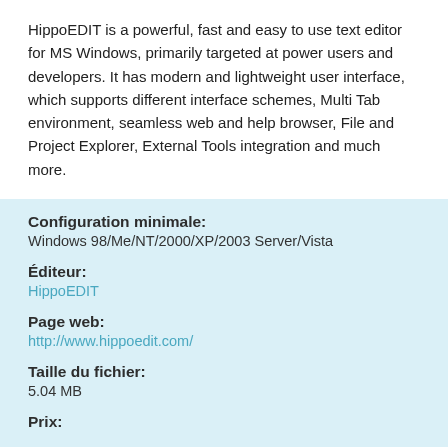HippoEDIT is a powerful, fast and easy to use text editor for MS Windows, primarily targeted at power users and developers. It has modern and lightweight user interface, which supports different interface schemes, Multi Tab environment, seamless web and help browser, File and Project Explorer, External Tools integration and much more.
Configuration minimale:
Windows 98/Me/NT/2000/XP/2003 Server/Vista
Éditeur:
HippoEDIT
Page web:
http://www.hippoedit.com/
Taille du fichier:
5.04 MB
Prix: